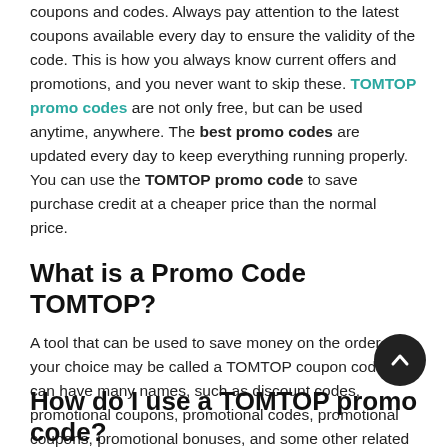coupons and codes. Always pay attention to the latest coupons available every day to ensure the validity of the code. This is how you always know current offers and promotions, and you never want to skip these. TOMTOP promo codes are not only free, but can be used anytime, anywhere. The best promo codes are updated every day to keep everything running properly. You can use the TOMTOP promo code to save purchase credit at a cheaper price than the normal price.
What is a Promo Code TOMTOP?
A tool that can be used to save money on the order of your choice may be called a TOMTOP coupon code. It can have many names, such as discount codes, promotional coupons, promotional codes, promotional coupons, promotional bonuses, and some other related terms that can be expected. In essence, it is just a mechanism for you to buy bargains on TOMTOP.
How do I use a TOMTOP promo code?